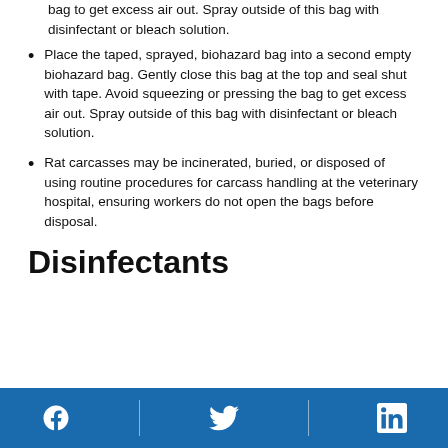bag to get excess air out. Spray outside of this bag with disinfectant or bleach solution.
Place the taped, sprayed, biohazard bag into a second empty biohazard bag. Gently close this bag at the top and seal shut with tape. Avoid squeezing or pressing the bag to get excess air out. Spray outside of this bag with disinfectant or bleach solution.
Rat carcasses may be incinerated, buried, or disposed of using routine procedures for carcass handling at the veterinary hospital, ensuring workers do not open the bags before disposal.
Disinfectants
[Figure (infographic): Footer bar with Facebook, Twitter, and LinkedIn social media icons in white on a blue background, separated by vertical dividers.]